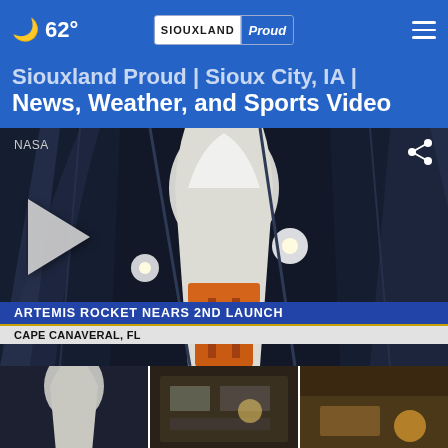Siouxland Proud | Sioux City, IA | News, Weather, and Sports Video — 62°
Siouxland Proud | Sioux City, IA |
News, Weather, and Sports Video
[Figure (screenshot): NASA video thumbnail of Artemis rocket at launch pad at night, Cape Canaveral FL, with play button overlay and lower-third banner reading 'ARTEMIS ROCKET NEARS 2ND LAUNCH / CAPE CANAVERAL, FL']
[Figure (photo): Thumbnail 1: close-up of a rocket nozzle or spacecraft]
[Figure (photo): Thumbnail 2: indoor scene, possibly a control room or facility]
[Figure (photo): Thumbnail 3: partially visible, outdoor scene]